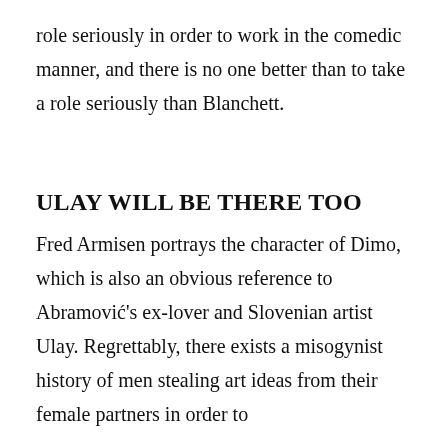role seriously in order to work in the comedic manner, and there is no one better than to take a role seriously than Blanchett.
ULAY WILL BE THERE TOO
Fred Armisen portrays the character of Dimo, which is also an obvious reference to Abramović's ex-lover and Slovenian artist Ulay. Regrettably, there exists a misogynist history of men stealing art ideas from their female partners in order to